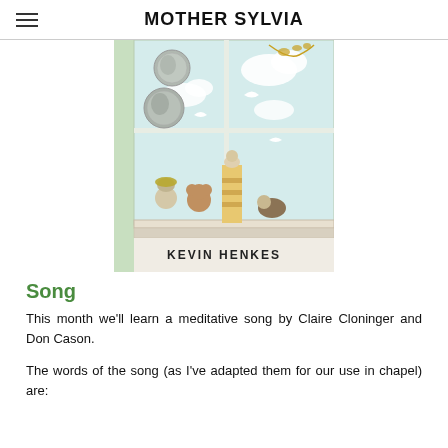MOTHER SYLVIA
[Figure (illustration): Book cover illustration showing animal characters (a mouse with yellow hat, a bear, a tall stack of books, and a hedgehog) sitting at a windowsill looking out at a sky with clouds, birds, and vines. Two silver medal seals appear in the upper left. The author name 'KEVIN HENKES' appears at the bottom of the cover.]
Song
This month we'll learn a meditative song by Claire Cloninger and Don Cason.
The words of the song (as I've adapted them for our use in chapel) are: